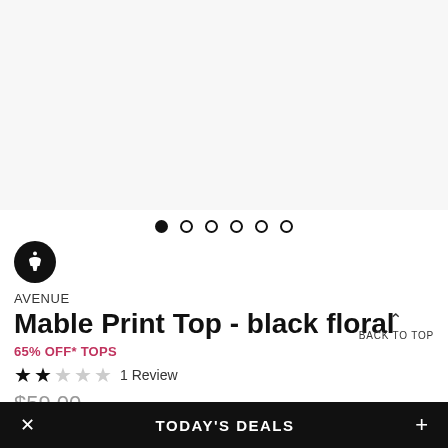[Figure (photo): Product image area for Mable Print Top - black floral (light gray background, image not visible)]
[Figure (other): Carousel navigation dots: 1 filled dot followed by 5 empty dots]
[Figure (other): Accessibility icon: white accessibility figure on black circle]
AVENUE
Mable Print Top - black floral
65% OFF* TOPS
★★☆☆☆ 1 Review
BACK TO TOP
$59.00
$20.65
available
TODAY'S DEALS